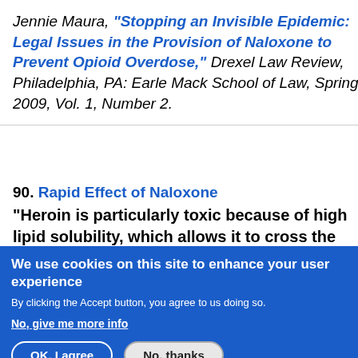Jennie Maura, "Stopping an Invisible Epidemic: Legal Issues in the Provision of Naloxone to Prevent Opioid Overdose," Drexel Law Review, Philadelphia, PA: Earle Mack School of Law, Spring 2009, Vol. 1, Number 2.
90. Rapid Effect of Naloxone "Heroin is particularly toxic because of high lipid solubility, which allows it to cross the blood–brain barrier within seconds and...
We use cookies on this site to enhance your user experience
By clicking the Accept button, you agree to us doing so.
No, give me more info
OK, I agree
No, thanks